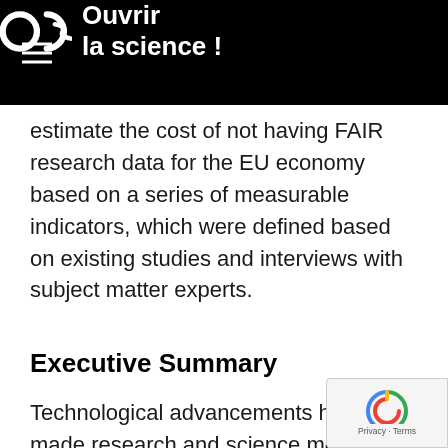Ouvrir la science !
estimate the cost of not having FAIR research data for the EU economy based on a series of measurable indicators, which were defined based on existing studies and interviews with subject matter experts.
Executive Summary
Technological advancements have made research and science more data intensive interconnected, with researchers producing